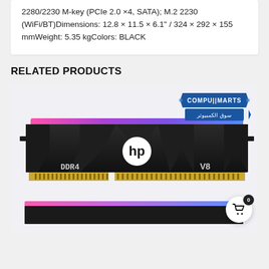2280/2230 M-key (PCIe 2.0 ×4, SATA); M.2 2230 (WiFi/BT)Dimensions: 12.8 × 11.5 × 6.1" / 324 × 292 × 155 mmWeight: 5.35 kgColors: BLACK
RELATED PRODUCTS
[Figure (photo): HP V8 DDR4 RGB RAM module with black heatspreader, pink/purple/blue RGB lighting on top, HP logo in center, DDR4 label on left, V8 label on right. Compumarts logo badge in top right corner. A white circular cart button with basket icon and count 0 in lower right.]